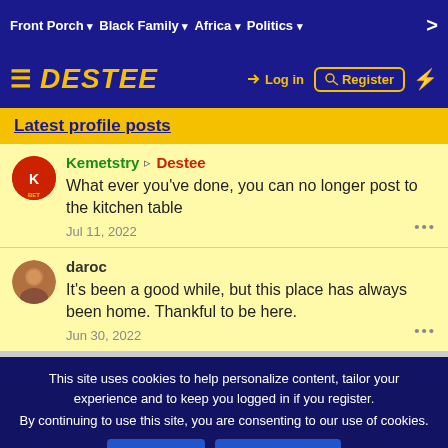Front Porch ▾  Black Family ▾  Africa ▾  Politics ▾  >
[Figure (logo): DESTEE website logo with hamburger menu, Log in and Register buttons]
Latest profile posts
Kemetstry ▷ Destee
What ever you've done, you can no longer post to the kitchen table
Jul 11, 2022
daroc
It's been a good while, but this place has always been home. Thankful to be here.
Jun 30, 2022
This site uses cookies to help personalize content, tailor your experience and to keep you logged in if you register.
By continuing to use this site, you are consenting to our use of cookies.
Opinions expressed be... ...nd do not represent the views of other Members, Management, or the Community at large.
Log in  Register  [mail] [doc] [lock] [info] [home]